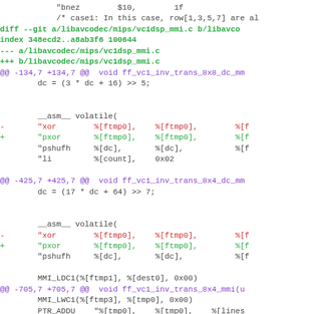diff --git source code showing changes to libavcodec/mips/vc1dsp_mmi.c — replacing xor with pxor instructions across multiple hunks
[Figure (screenshot): Git diff output showing code changes to libavcodec/mips/vc1dsp_mmi.c, replacing xor with pxor in three hunks at lines 134, 425, and 705]